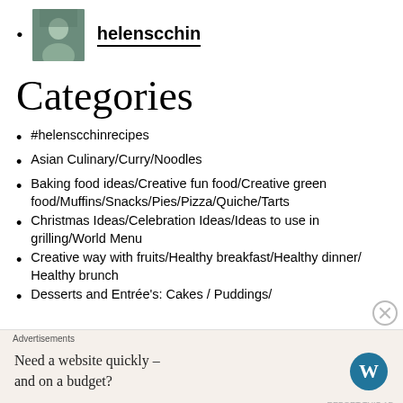helenscchin
Categories
#helenscchinrecipes
Asian Culinary/Curry/Noodles
Baking food ideas/Creative fun food/Creative green food/Muffins/Snacks/Pies/Pizza/Quiche/Tarts
Christmas Ideas/Celebration Ideas/Ideas to use in grilling/World Menu
Creative way with fruits/Healthy breakfast/Healthy dinner/ Healthy brunch
Desserts and Entrée's: Cakes / Puddings/
Advertisements
Need a website quickly – and on a budget?